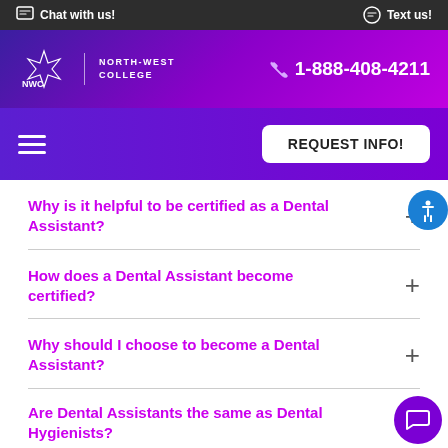Chat with us!  Text us!
[Figure (logo): NWC North-West College logo with phone number 1-888-408-4211]
REQUEST INFO!
Why is it helpful to be certified as a Dental Assistant?
How does a Dental Assistant become certified?
Why should I choose to become a Dental Assistant?
Are Dental Assistants the same as Dental Hygienists?